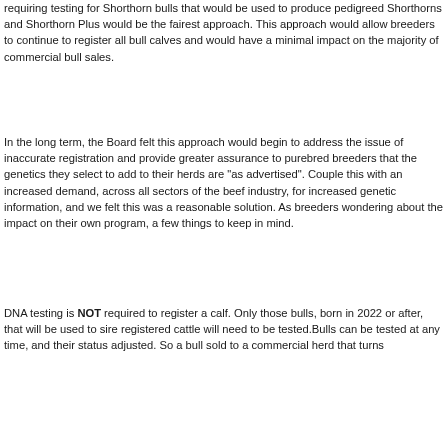requiring testing for Shorthorn bulls that would be used to produce pedigreed Shorthorns and Shorthorn Plus would be the fairest approach. This approach would allow breeders to continue to register all bull calves and would have a minimal impact on the majority of commercial bull sales.
In the long term, the Board felt this approach would begin to address the issue of inaccurate registration and provide greater assurance to purebred breeders that the genetics they select to add to their herds are "as advertised". Couple this with an increased demand, across all sectors of the beef industry, for increased genetic information, and we felt this was a reasonable solution. As breeders wondering about the impact on their own program, a few things to keep in mind.
DNA testing is NOT required to register a calf. Only those bulls, born in 2022 or after, that will be used to sire registered cattle will need to be tested.Bulls can be tested at any time, and their status adjusted. So a bull sold to a commercial herd that turns